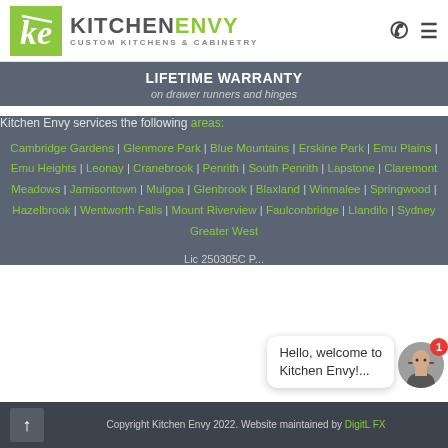[Figure (logo): Kitchen Envy logo with green square containing stylized 'ke' initials, text 'KITCHENENVY' and 'CUSTOM KITCHENS & CABINETRY', phone and menu icons]
LIFETIME WARRANTY
on drawer runners and hinges
Kitchen Envy services the following areas:
Cambridge Gardens | Glenmore Park | Blue Mountains | Erskine Park | Emu Plains | Emu Heights | Leonay | Cranebrook | Penrith | South Penrith | Lapstone | Claremont Meadows | Jamisontown | Mulgoa | Glenbrook | Blaxland | Winmalee | Springwood | Hazelbrook | Wentworth Falls | Mount Riverview | Faulconbridge | Llandilo | Sydney Greater West
Lic 250305C P...
Hello, welcome to Kitchen Envy!...
Copyright Kitchen Envy 2022. Website maintained by DigitL FX